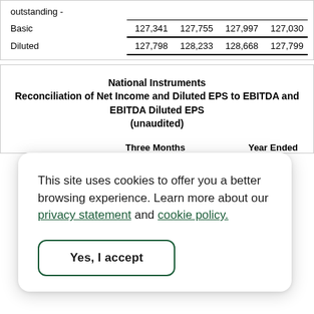|  |  |  |  |  |
| --- | --- | --- | --- | --- |
| outstanding - |  |  |  |  |
| Basic | 127,341 | 127,755 | 127,997 | 127,030 |
| Diluted | 127,798 | 128,233 | 128,668 | 127,799 |
National Instruments
Reconciliation of Net Income and Diluted EPS to EBITDA and EBITDA Diluted EPS
(unaudited)
|  | Three Months | Year Ended |
| --- | --- | --- |
This site uses cookies to offer you a better browsing experience. Learn more about our privacy statement and cookie policy.
Yes, I accept